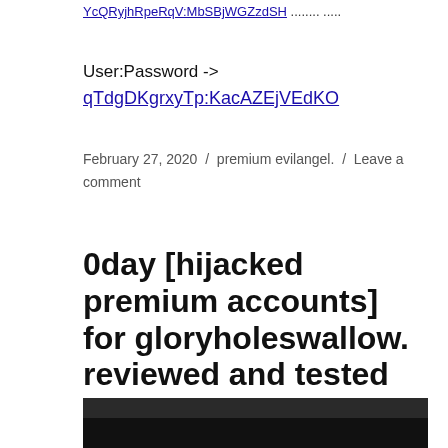YcQRyjhRpeRqV:MbSBjWGZzdSH ........ .....
User:Password ->
qTdgDKgrxyTp:KacAZEjVEdKO
February 27, 2020  /  premium evilangel.  /  Leave a comment
0day [hijacked premium accounts] for gloryholeswallow. reviewed and tested by STAN from Ely
[Figure (photo): Dark photograph partially visible at bottom of page]